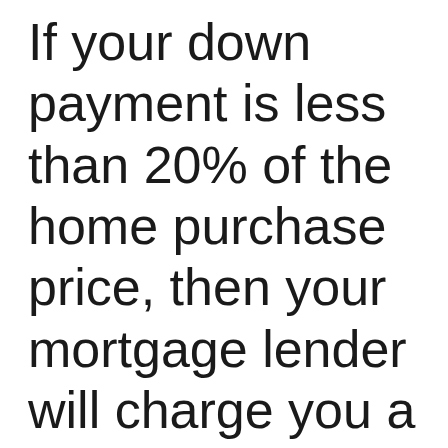If your down payment is less than 20% of the home purchase price, then your mortgage lender will charge you a PMI (private mortgage insurance). A PMI is an extra fee to your monthly...